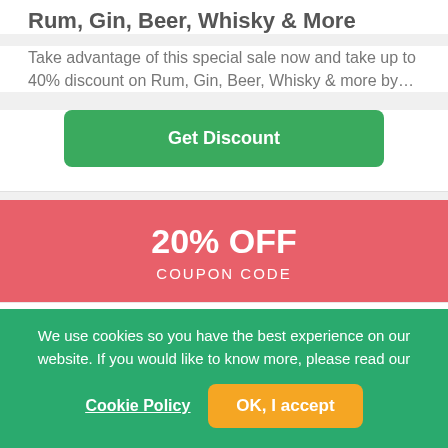Rum, Gin, Beer, Whisky & More
Take advantage of this special sale now and take up to 40% discount on Rum, Gin, Beer, Whisky & more by…
Get Discount
20% OFF
COUPON CODE
The Skinny Food Co Coupon Code - Student Discount - Register & Claim 20% OFF Your Order
Student Discount - Grab this awesome deal to save more on your purchase. Just register and verify your student…
We use cookies so you have the best experience on our website. If you would like to know more, please read our
Cookie Policy
OK, I accept